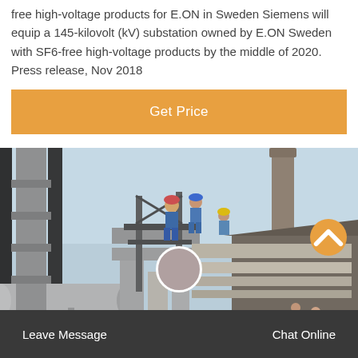free high-voltage products for E.ON in Sweden Siemens will equip a 145-kilovolt (kV) substation owned by E.ON Sweden with SF6-free high-voltage products by the middle of 2020. Press release, Nov 2018
Get Price
[Figure (photo): Workers in hard hats and blue coveralls working on large industrial high-voltage equipment and pipes at an outdoor substation or industrial facility. A tall chimney/stack is visible in the background against a blue sky.]
Leave Message   Chat Online